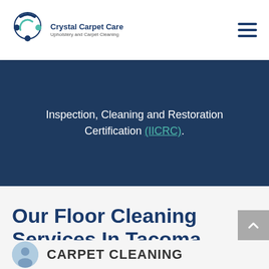Crystal Carpet Care - Upholstery and Carpet Cleaning
Inspection, Cleaning and Restoration Certification (IICRC).
Our Floor Cleaning Services In Tacoma
CARPET CLEANING